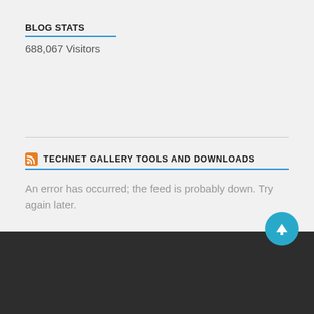BLOG STATS
688,067 Visitors
TECHNET GALLERY TOOLS AND DOWNLOADS
An error has occurred; the feed is probably down. Try again later.
© 2022
BLOG AT WORDPRESS.COM.